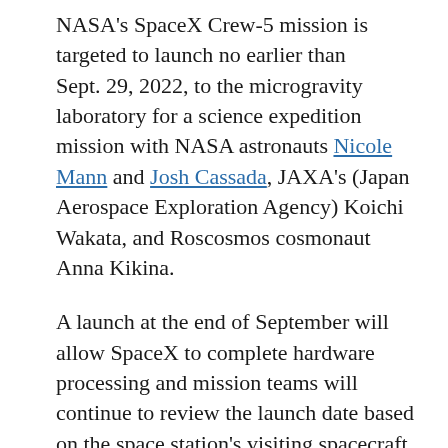NASA's SpaceX Crew-5 mission is targeted to launch no earlier than Sept. 29, 2022, to the microgravity laboratory for a science expedition mission with NASA astronauts Nicole Mann and Josh Cassada, JAXA's (Japan Aerospace Exploration Agency) Koichi Wakata, and Roscosmos cosmonaut Anna Kikina.
A launch at the end of September will allow SpaceX to complete hardware processing and mission teams will continue to review the launch date based on the space station's visiting spacecraft schedule. Launch of Crew-5 now will take place after a scheduled Soyuz undocking and launch period from Sept. 16-30.